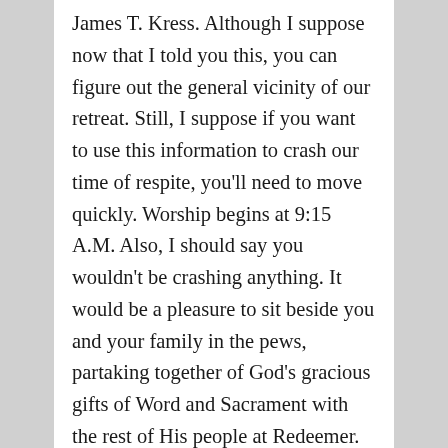James T. Kress. Although I suppose now that I told you this, you can figure out the general vicinity of our retreat. Still, I suppose if you want to use this information to crash our time of respite, you'll need to move quickly. Worship begins at 9:15 A.M. Also, I should say you wouldn't be crashing anything. It would be a pleasure to sit beside you and your family in the pews, partaking together of God's gracious gifts of Word and Sacrament with the rest of His people at Redeemer.